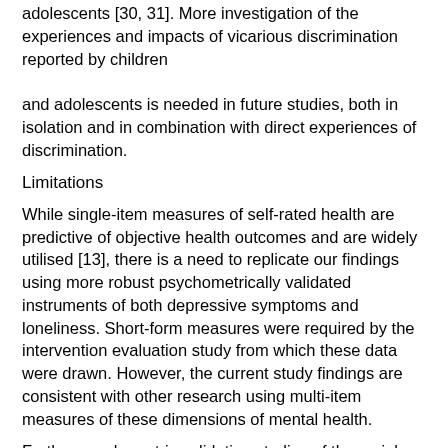adolescents [30, 31]. More investigation of the experiences and impacts of vicarious discrimination reported by children and adolescents is needed in future studies, both in isolation and in combination with direct experiences of discrimination.
Limitations
While single-item measures of self-rated health are predictive of objective health outcomes and are widely utilised [13], there is a need to replicate our findings using more robust psychometrically validated instruments of both depressive symptoms and loneliness. Short-form measures were required by the intervention evaluation study from which these data were drawn. However, the current study findings are consistent with other research using multi-item measures of these dimensions of mental health.
Further psychometric validation studies of the racial discrimination measures developed for this study are also required across samples of children from a range of ethnic, migration and language of origin